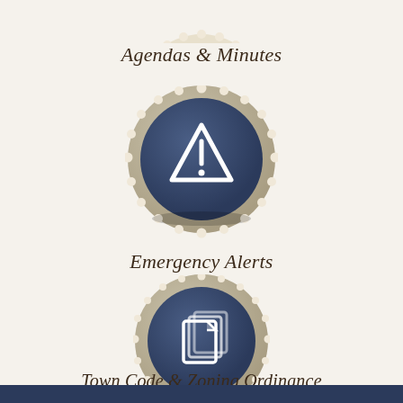[Figure (illustration): Circular navy blue button with cream/beige beaded border, partially cropped at top of page, containing an agendas/calendar icon]
Agendas & Minutes
[Figure (illustration): Circular navy blue button with cream/beige beaded border, containing a white warning/alert triangle icon with exclamation mark]
Emergency Alerts
[Figure (illustration): Circular navy blue button with cream/beige beaded border, containing a white documents/pages stacked icon]
Town Code & Zoning Ordinance